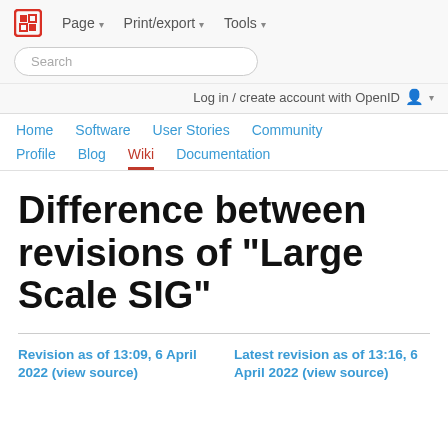Page ▾   Print/export ▾   Tools ▾
Search
Log in / create account with OpenID
Home   Software   User Stories   Community   Profile   Blog   Wiki   Documentation
Difference between revisions of "Large Scale SIG"
Revision as of 13:09, 6 April 2022 (view source)   Latest revision as of 13:16, 6 April 2022 (view source)